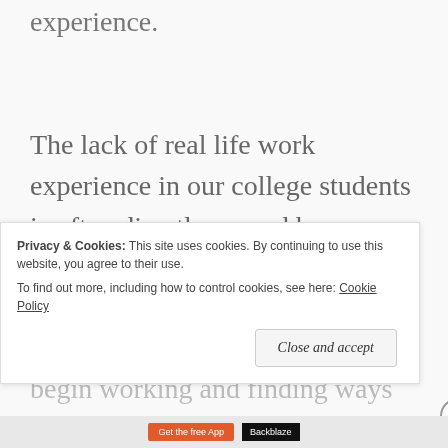experience.
The lack of real life work experience in our college students is often directly caused by college. Attending college is the easiest way to postpone a career. Rather than begin working and finding ways to earn an
Privacy & Cookies: This site uses cookies. By continuing to use this website, you agree to their use.
To find out more, including how to control cookies, see here: Cookie Policy
Close and accept